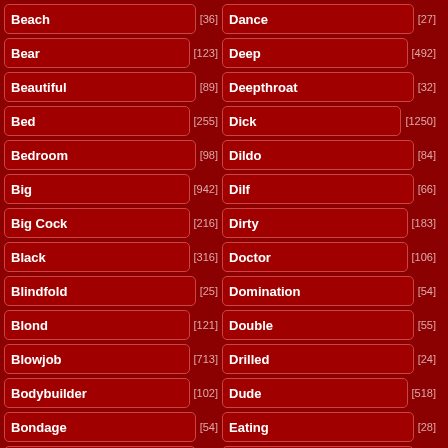Beach [36]
Dance [27]
Bear [123]
Deep [492]
Beautiful [89]
Deepthroat [32]
Bed [255]
Dick [1250]
Bedroom [98]
Dildo [84]
Big [942]
Dilf [66]
Big Cock [216]
Dirty [183]
Black [316]
Doctor [106]
Blindfold [25]
Domination [54]
Blond [121]
Double [55]
Blowjob [713]
Drilled [24]
Bodybuilder [102]
Dude [518]
Bondage [54]
Eating [28]
Boss [50]
Erotic [34]
Boy [1817]
European [26]